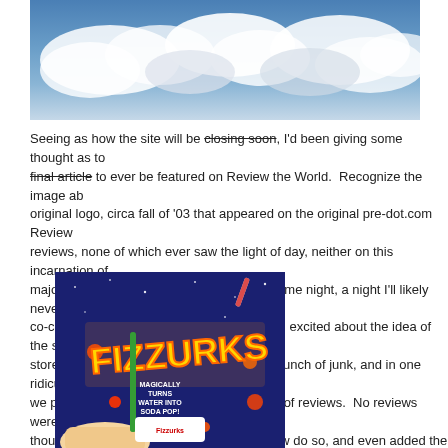[Figure (photo): Sky with white clouds against blue background, top portion of the page]
Seeing as how the site will be closing soon, I'd been giving some thought as to final article to ever be featured on Review the World. Recognize the image ab original logo, circa fall of '03 that appeared on the original pre-dot.com Review reviews, none of which ever saw the light of day, neither on this incarnation of majority of these shots were taken on the same night, a night I'll likely never fo co-creator Nick and I were so exuberant and excited about the idea of the site stores and dilapidated groceries, bought a bunch of junk, and in one ridiculous we planned to be material for our first batch of reviews. No reviews were ever though; however, I've taken the liberty to now do so, and even added the stan But, these grades won't represent quality as per the norm, but instead, a biase on how much fun we had with the item reviewed.
[Figure (photo): Fizzurks product package - a novelty item that magically turns water into soda pop, shown being held by a hand against a blue starry background packaging]